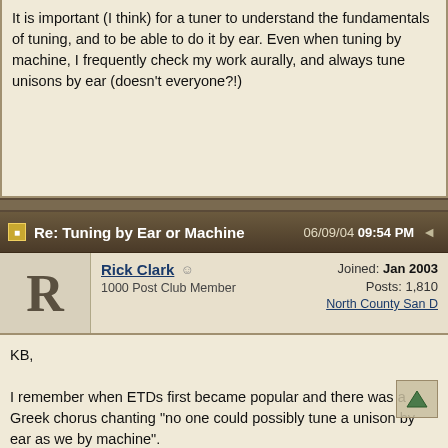It is important (I think) for a tuner to understand the fundamentals of tuning, and to be able to do it by ear. Even when tuning by machine, I frequently check my work aurally, and always tune unisons by ear (doesn't everyone?!)
Re: Tuning by Ear or Machine  06/09/04 09:54 PM
Rick Clark  1000 Post Club Member  Joined: Jan 2003  Posts: 1,810  North County San D
KB,

I remember when ETDs first became popular and there was a Greek chorus chanting "no one could possibly tune a unison by ear as well as by machine".

My ear told me different and I also started pointing out Gabriel Weinreich's paper in the old Scientific American verifying the superiority of the ear and it's natural ability to slighty mistune unisons in order to overcome wave reflection and phase problems. Over time the Greek chorus started to mumble and cough. But then it started a new chant: "use the machine for the temperament but always tune unisons by